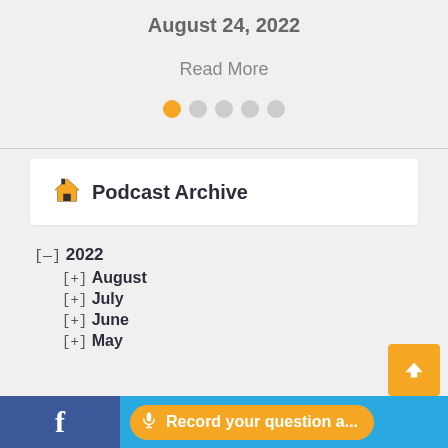August 24, 2022
Read More
[Figure (other): Carousel pagination dots: one orange active dot followed by four grey inactive dots]
Podcast Archive
[—] 2022
[+] August
[+] July
[+] June
[+] May
[Figure (other): Back to top button: orange square with white upward chevron arrow]
f  Record your question a...